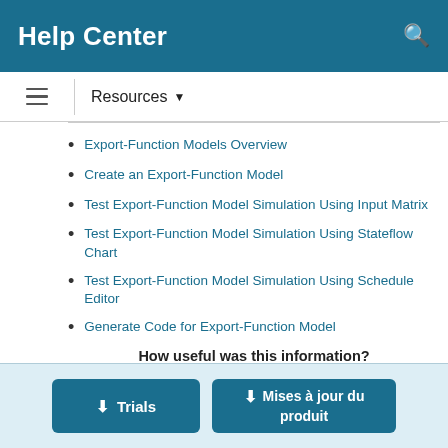Help Center
Resources ▼
Export-Function Models Overview
Create an Export-Function Model
Test Export-Function Model Simulation Using Input Matrix
Test Export-Function Model Simulation Using Stateflow Chart
Test Export-Function Model Simulation Using Schedule Editor
Generate Code for Export-Function Model
How useful was this information?
[Figure (other): Five empty star rating widgets]
Trials | Mises à jour du produit